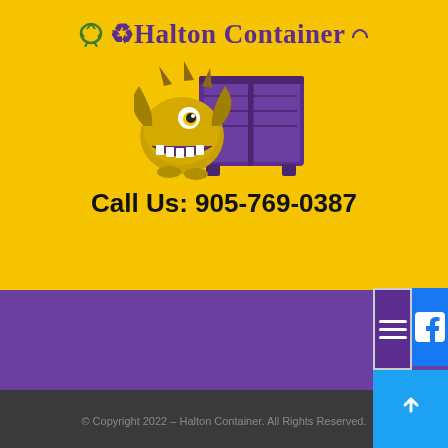[Figure (logo): Halton Container logo with monster mascot and purple dumpster on yellow background]
Call Us: 905-769-0387
[Figure (infographic): Social media sidebar with Facebook, Twitter, Instagram, mail icons and hamburger menu]
© Copyright 2022 – Halton Container. All Rights Reserved.